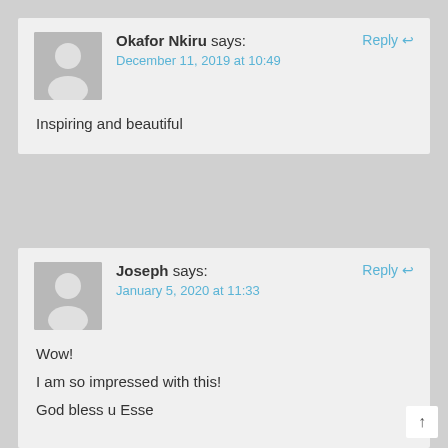Okafor Nkiru says: December 11, 2019 at 10:49 — Reply
Inspiring and beautiful
Joseph says: January 5, 2020 at 11:33 — Reply
Wow!
I am so impressed with this!
God bless u Esse